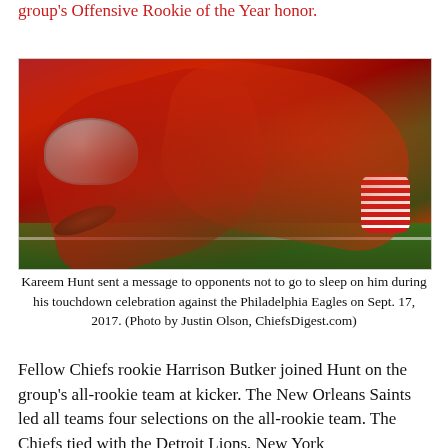group's Offensive Rookie of the Year honor.
[Figure (photo): Kareem Hunt lying on the ground with the football after a touchdown celebration against the Philadelphia Eagles on Sept. 17, 2017. Kansas City Chiefs players in red uniforms on a green field.]
Kareem Hunt sent a message to opponents not to go to sleep on him during his touchdown celebration against the Philadelphia Eagles on Sept. 17, 2017. (Photo by Justin Olson, ChiefsDigest.com)
Fellow Chiefs rookie Harrison Butker joined Hunt on the group's all-rookie team at kicker. The New Orleans Saints led all teams four selections on the all-rookie team. The Chiefs tied with the Detroit Lions, New York